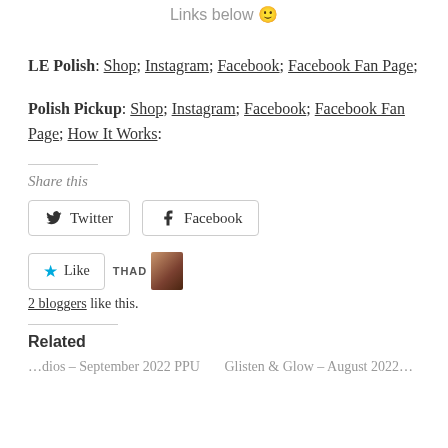Links below 😊
LE Polish: Shop; Instagram; Facebook; Facebook Fan Page;
Polish Pickup: Shop; Instagram; Facebook; Facebook Fan Page; How It Works;
Share this
Twitter  Facebook
Like  THAD [avatar image]
2 bloggers like this.
Related
…dios – September 2022 PPU … Glisten & Glow – August 2022…